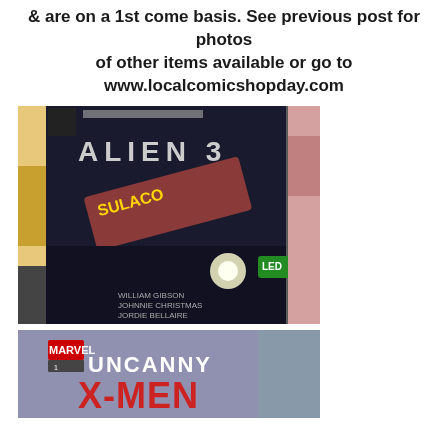& are on a 1st come basis. See previous post for photos of other items available or go to www.localcomicshopday.com
[Figure (photo): Photo of comic books displayed in a store, showing Alien 3 comic book with SULACO text visible, and other comics. By William Gibson and Christmas.]
[Figure (photo): Photo of Uncanny X-Men comic book (Marvel, issue 1) displayed in a store.]